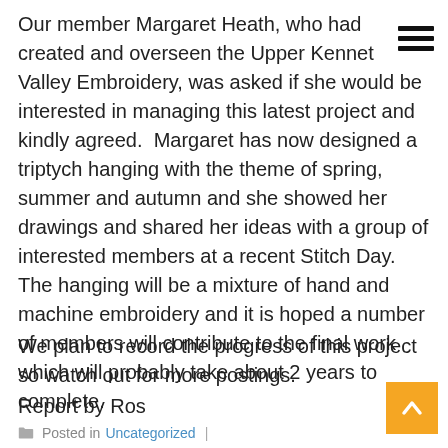Our member Margaret Heath, who had created and overseen the Upper Kennet Valley Embroidery, was asked if she would be interested in managing this latest project and kindly agreed.  Margaret has now designed a triptych hanging with the theme of spring, summer and autumn and she showed her drawings and shared her ideas with a group of interested members at a recent Stitch Day.  The hanging will be a mixture of hand and machine embroidery and it is hoped a number of members will contribute to the final work which will probably take about 2 years to complete.
We plan to record the progress of this project so watch out for more postings.
Report by Ros
Posted in Uncategorized |